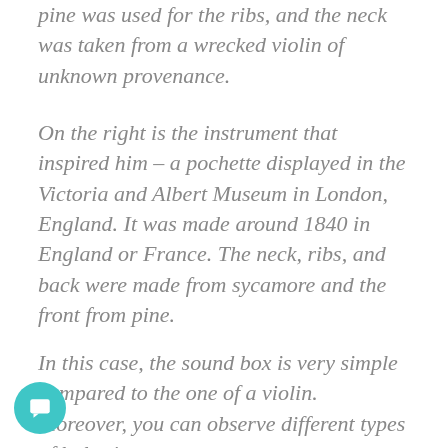pine was used for the ribs, and the neck was taken from a wrecked violin of unknown provenance.
On the right is the instrument that inspired him – a pochette displayed in the Victoria and Albert Museum in London, England. It was made around 1840 in England or France. The neck, ribs, and back were made from sycamore and the front from pine.
In this case, the sound box is very simple compared to the one of a violin. Moreover, you can observe different types of holes in